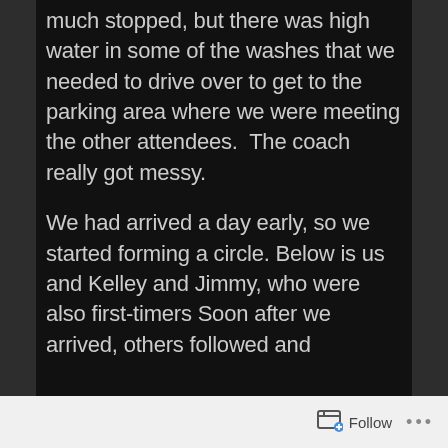much stopped, but there was high water in some of the washes that we needed to drive over to get to the parking area where we were meeting the other attendees.  The coach really got messy.

We had arrived a day early, so we started forming a circle. Below is us and Kelley and Jimmy, who were also first-timers Soon after we arrived, others followed and
Follow ···